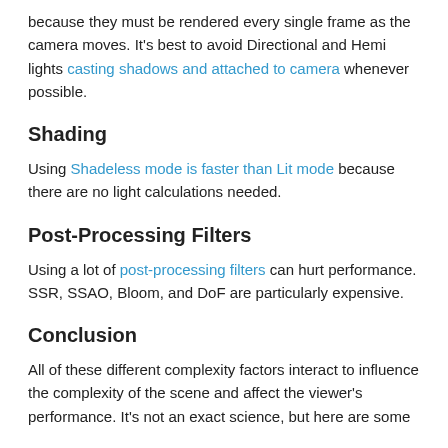because they must be rendered every single frame as the camera moves. It's best to avoid Directional and Hemi lights casting shadows and attached to camera whenever possible.
Shading
Using Shadeless mode is faster than Lit mode because there are no light calculations needed.
Post-Processing Filters
Using a lot of post-processing filters can hurt performance. SSR, SSAO, Bloom, and DoF are particularly expensive.
Conclusion
All of these different complexity factors interact to influence the complexity of the scene and affect the viewer's performance. It's not an exact science, but here are some